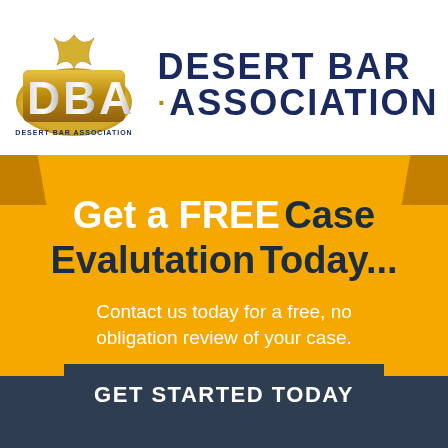[Figure (logo): Desert Bar Association logo: gold 'DBA' letters with stylized palm frond graphic above, 'DESERT BAR ASSOCIATION' text below in gold on the emblem, next to large bold dark blue text 'DESERT BAR ASSOCIATION' with gold dot separator]
Get a FREE Case Evalutation Today...
Contact us today for a free, no obligation review of your case.
GET STARTED TODAY